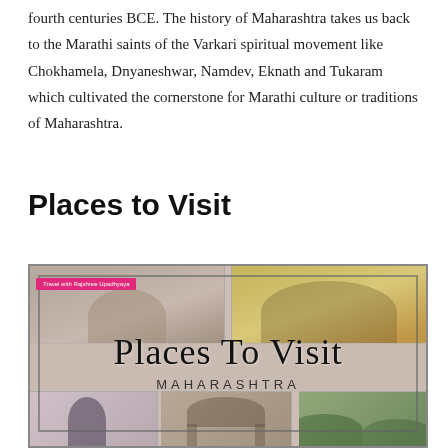fourth centuries BCE. The history of Maharashtra takes us back to the Marathi saints of the Varkari spiritual movement like Chokhamela, Dnyaneshwar, Namdev, Eknath and Tukaram which cultivated the cornerstone for Marathi culture or traditions of Maharashtra.
Places to Visit
[Figure (photo): Collage image titled 'Places To Visit - MAHARASHTRA' with label 'Travel with Rajshree Upadhyaya'. Shows multiple photos of Maharashtra landmarks including domed architecture, a golden arch gate, a statue, temple structures, and green hills arranged in a grid layout.]